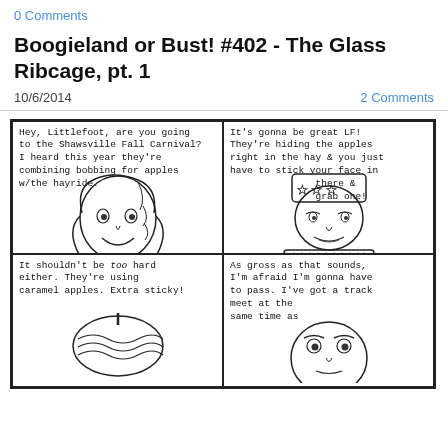0 Comments
Boogieland or Bust! #402 - The Glass Ribcage, pt. 1
10/6/2014
2 Comments
[Figure (illustration): A four-panel comic strip. Panel 1 (top-left): A girl with curly hair smiling. Speech text: 'Hey, Littlefoot, are you going to the Shawsville Fall Carnival? I heard this year they're combining bobbing for apples w/the hayride.' Panel 2 (top-right): A man wearing a star-patterned bandana and a shirt with 'BWC' on it. Speech text: 'It's gonna be great LF! They're hiding the apples right in the hay & you just have to stick your face in there & grab one!' Panel 3 (bottom-left): A caramel apple partially shown. Speech text: 'It shouldn't be too hard either. They're using caramel apples. Extra sticky!' Panel 4 (bottom-right): A person's face shown at the bottom. Speech text: 'As gross as that sounds, I'm afraid I'm gonna have to pass. I've got a track meet at the same time as']